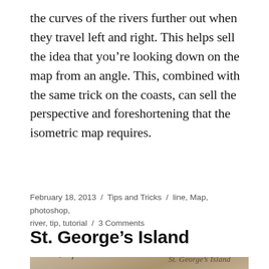the curves of the rivers further out when they travel left and right. This helps sell the idea that you're looking down on the map from an angle. This, combined with the same trick on the coasts, can sell the perspective and foreshortening that the isometric map requires.
February 18, 2013 / Tips and Tricks / line, Map, photoshop, river, tip, tutorial / 3 Comments
St. George's Island
[Figure (photo): A parchment-colored map image showing handwritten italic script reading 'St. George's Island' with a decorative curved mark to the left, on an aged tan/brown textured background.]